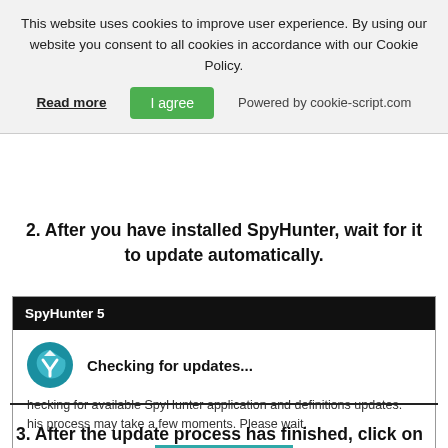This website uses cookies to improve user experience. By using our website you consent to all cookies in accordance with our Cookie Policy.
Read more   I agree   Powered by cookie-script.com
2. After you have installed SpyHunter, wait for it to update automatically.
[Figure (screenshot): SpyHunter 5 application window showing 'Checking for updates...' dialog with a teal/blue icon, description text about checking for available SpyHunter application and definitions updates, and an OK button.]
3. After the update process has finished, click on the